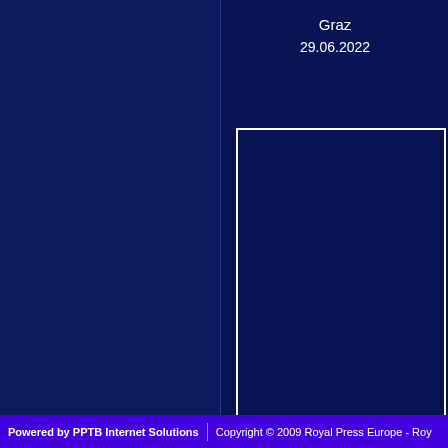Graz
29.06.2022
[Figure (photo): Image placeholder box with white border on dark blue background]
annual photo session Palace Noorde
The Hague
24.06.2022
Select category
Powered by PPTB Internet Solutions   Copyright © 2009 Royal Press Europe - Roy